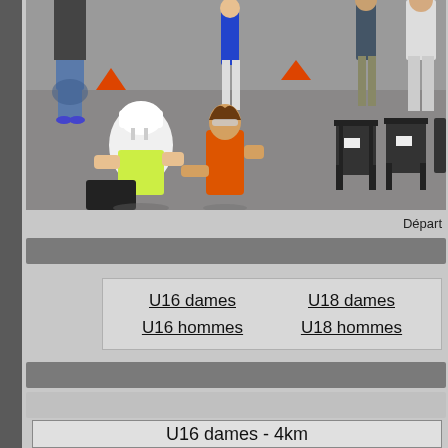[Figure (photo): Outdoor triathlon or cycling event scene with people on asphalt; a woman in white helmet and a woman in orange top in foreground, folding chairs on right, people standing in background, orange traffic cones visible]
Départ
U16 dames   U18 dames
U16 hommes   U18 hommes
U16 dames - 4km